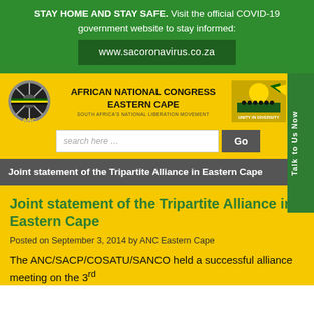STAY HOME AND STAY SAFE. Visit the official COVID-19 government website to stay informed: www.sacoronavirus.co.za
[Figure (logo): ANC logo with wheel emblem]
AFRICAN NATIONAL CONGRESS EASTERN CAPE
SOUTH AFRICA'S NATIONAL LIBERATION MOVEMENT
[Figure (logo): Unity in Diversity image with people and flags]
Joint statement of the Tripartite Alliance in Eastern Cape
Joint statement of the Tripartite Alliance in Eastern Cape
Posted on September 3, 2014 by ANC Eastern Cape
The ANC/SACP/COSATU/SANCO held a successful alliance meeting on the 3rd